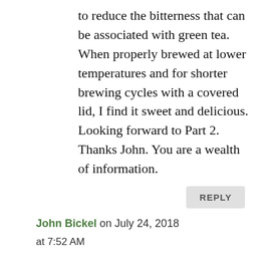to reduce the bitterness that can be associated with green tea. When properly brewed at lower temperatures and for shorter brewing cycles with a covered lid, I find it sweet and delicious. Looking forward to Part 2. Thanks John. You are a wealth of information.
REPLY
John Bickel on July 24, 2018 at 7:52 AM